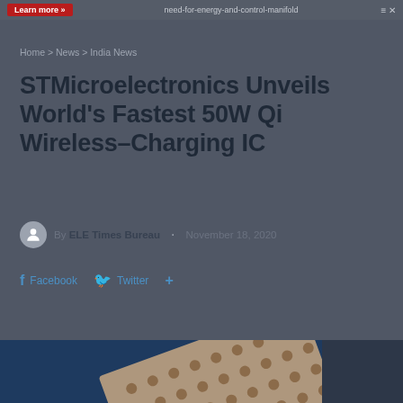Learn more | need-for-energy-and-control-manifold
Home > News > India News
STMicroelectronics Unveils World's Fastest 50W Qi Wireless-Charging IC
By ELE Times Bureau · November 18, 2020
Facebook  Twitter  +
[Figure (photo): Photograph of an IC chip package with a grid array of solder bumps or pins, shown at an angle on a dark blue background]